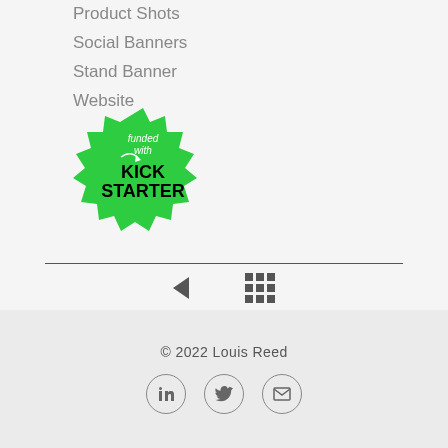Product Shots
Social Banners
Stand Banner
Website
[Figure (logo): Kickstarter 'funded with' badge — green starburst seal with text 'funded with KICKSTARTER']
© 2022 Louis Reed